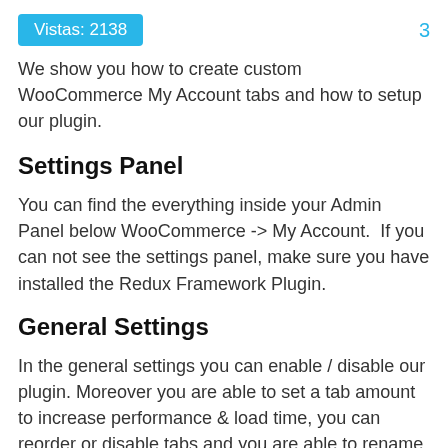Vistas: 2138   3
We show you how to create custom WooCommerce My Account tabs and how to setup our plugin.
Settings Panel
You can find the everything inside your Admin Panel below WooCommerce -> My Account.  If you can not see the settings panel, make sure you have installed the Redux Framework Plugin.
General Settings
In the general settings you can enable / disable our plugin. Moreover you are able to set a tab amount to increase performance & load time, you can reorder or disable tabs and you are able to rename the